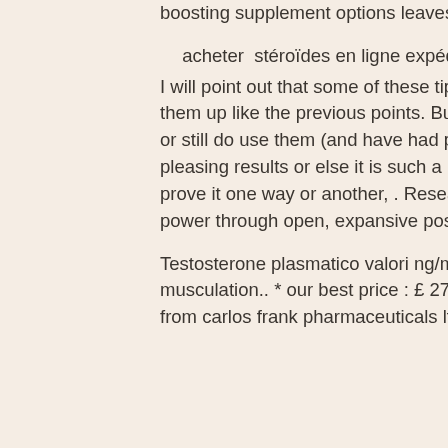boosting supplement options leaves you utterly confused.
acheter stéroïdes en ligne expédition dans le monde entier.
I will point out that some of these tips may not have the scientific evidence to back them up like the previous points. But I can assure you that either I have used them or still do use them (and have had positive results), a client has used them with pleasing results or else it is such a new concept that there isn&rsquo;t enough evidence to prove it one way or another, . Researchers found that the simple act of 'expressing power through open, expansive postures' (e.
Testosterone plasmatico valori ng/ml, acheter stéroïdes en ligne suppléments de musculation.. * our best price : £ 27. Buy astralean (clenbuterol hcl tablets 40 mcg) from carlos frank pharmaceuticals ltd.